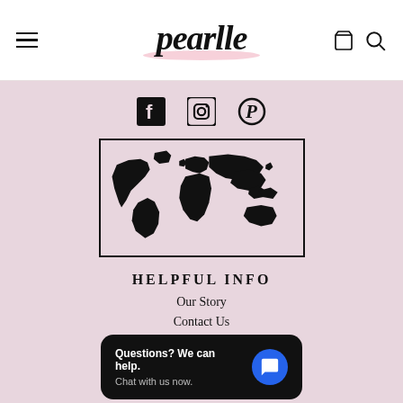pearlle - navigation header with hamburger menu, logo, cart and search icons
[Figure (logo): Pearlle brand logo in italic script with pink brush stroke underline]
[Figure (infographic): Social media icons: Facebook, Instagram, Pinterest]
[Figure (map): World map silhouette in black on pink background, inside a rectangular border]
HELPFUL INFO
Our Story
Contact Us
[Figure (screenshot): Chat popup widget: Questions? We can help. Chat with us now. with blue chat button]